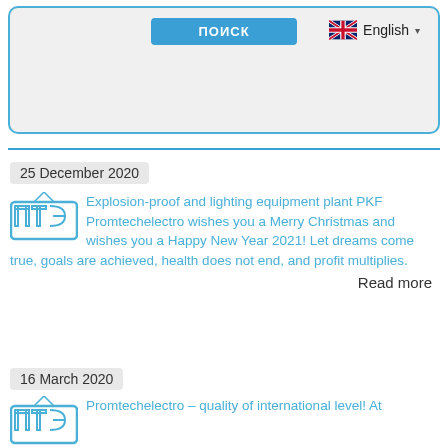[Figure (screenshot): Search button labeled 'ПОИСК' in blue, with UK flag and 'English' language selector on the right, inside a light grey rounded rectangle with blue border]
25 December 2020
Explosion-proof and lighting equipment plant PKF Promtechelectro wishes you a Merry Christmas and wishes you a Happy New Year 2021! Let dreams come true, goals are achieved, health does not end, and profit multiplies.
Read more
16 March 2020
Promtechelectro – quality of international level! At